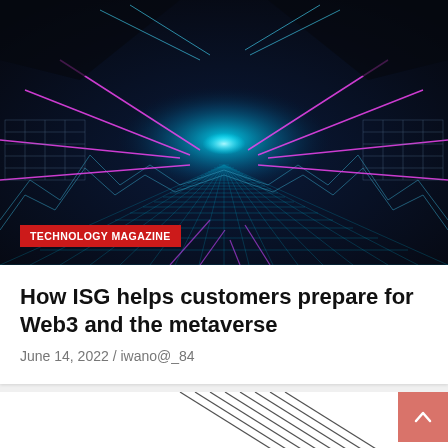[Figure (illustration): Futuristic metaverse/Web3 themed image with neon pink and cyan grid landscape, dark background, glowing neon lines extending into the distance, wireframe mountains, grid panels on the sides.]
TECHNOLOGY MAGAZINE
How ISG helps customers prepare for Web3 and the metaverse
June 14, 2022 / iwano@_84
[Figure (illustration): Partial view of diagonal parallel lines in dark gray/black on white background, bottom portion cut off.]